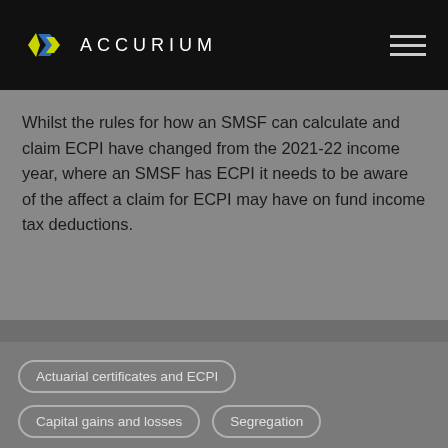[Figure (logo): Accurium logo: diamond/arrow shapes in yellow and blue, followed by 'ACCURIUM' text in white on black background, with hamburger menu icon on the right]
Whilst the rules for how an SMSF can calculate and claim ECPI have changed from the 2021-22 income year, where an SMSF has ECPI it needs to be aware of the affect a claim for ECPI may have on fund income tax deductions.
Actuarial certificates and ECPI
Capital gains and losses
Segregation